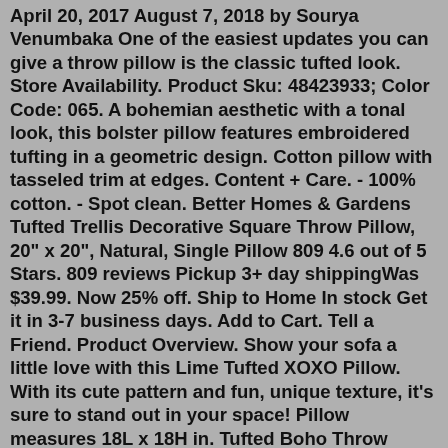April 20, 2017 August 7, 2018 by Sourya Venumbaka One of the easiest updates you can give a throw pillow is the classic tufted look. Store Availability. Product Sku: 48423933; Color Code: 065. A bohemian aesthetic with a tonal look, this bolster pillow features embroidered tufting in a geometric design. Cotton pillow with tasseled trim at edges. Content + Care. - 100% cotton. - Spot clean. Better Homes & Gardens Tufted Trellis Decorative Square Throw Pillow, 20" x 20", Natural, Single Pillow 809 4.6 out of 5 Stars. 809 reviews Pickup 3+ day shippingWas $39.99. Now 25% off. Ship to Home In stock Get it in 3-7 business days. Add to Cart. Tell a Friend. Product Overview. Show your sofa a little love with this Lime Tufted XOXO Pillow. With its cute pattern and fun, unique texture, it's sure to stand out in your space! Pillow measures 18L x 18H in. Tufted Boho Throw Pillow Covers 18x18 Inch Set of 2, Comfy Square Pillow Cases with Tassels, Pillowcase for Sofa Couch Chair Modern Throw Pillow Cover Brand: BBLYANU $29.99 $ 29 . 99 RH's Tufted French Floor Cushions:Hand-tufted